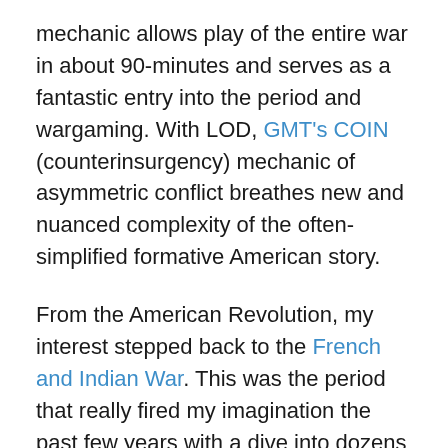mechanic allows play of the entire war in about 90-minutes and serves as a fantastic entry into the period and wargaming. With LOD, GMT's COIN (counterinsurgency) mechanic of asymmetric conflict breathes new and nuanced complexity of the often-simplified formative American story.
From the American Revolution, my interest stepped back to the French and Indian War. This was the period that really fired my imagination the past few years with a dive into dozens of books and several long trips visiting historic sites of the era in Virginia, Pennsylvania, Maryland, West Virginia and New York. A Few Acres of Snow was my first game of the period and remains one of hands-down favorites with its two player asymmetric, deck building that still challenges over multiple plays as the French and British…